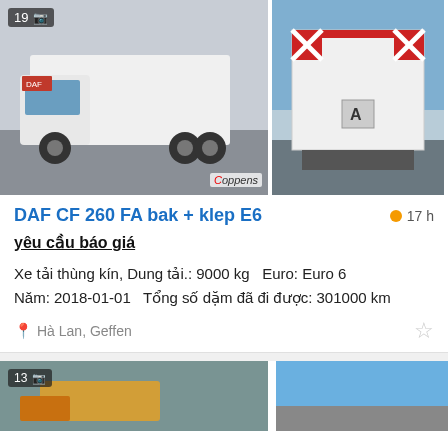[Figure (photo): White DAF CF 260 FA box truck, front-left view, parking lot background, watermark 'Coppens', photo count badge '19']
[Figure (photo): Rear view of DAF CF 260 FA truck showing loading gate/klep with red diagonal hazard markings and 'A' plate]
DAF CF 260 FA bak + klep E6
17 h
yêu cầu báo giá
Xe tải thùng kín, Dung tải.: 9000 kg  Euro: Euro 6
Năm: 2018-01-01  Tổng số dặm đã đi được: 301000 km
Hà Lan, Geffen
[Figure (photo): Partially visible bottom listing card image 1, photo count badge '13']
[Figure (photo): Partially visible bottom listing card image 2, blue background]